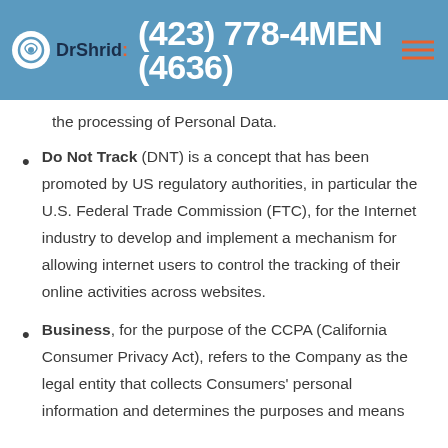DrShrid (423) 778-4MEN (4636)
the processing of Personal Data.
Do Not Track (DNT) is a concept that has been promoted by US regulatory authorities, in particular the U.S. Federal Trade Commission (FTC), for the Internet industry to develop and implement a mechanism for allowing internet users to control the tracking of their online activities across websites.
Business, for the purpose of the CCPA (California Consumer Privacy Act), refers to the Company as the legal entity that collects Consumers' personal information and determines the purposes and means